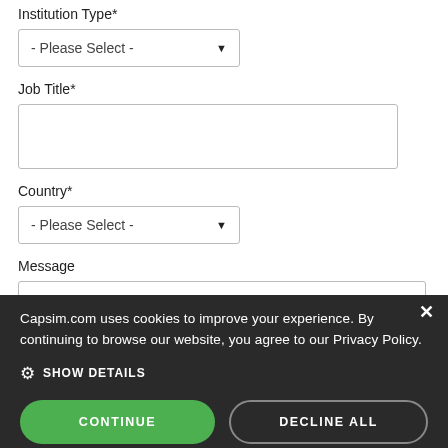Institution Type*
[Figure (screenshot): Dropdown select box with placeholder '- Please Select -' and a down arrow]
Job Title*
[Figure (screenshot): Empty text input box for Job Title]
Country*
[Figure (screenshot): Dropdown select box with placeholder '- Please Select -' and a down arrow]
Message
[Figure (screenshot): Empty message text area input box, partially visible]
[Figure (screenshot): Blue banner bar partially obscured by cookie consent overlay]
Capsim.com uses cookies to improve your experience. By continuing to browse our website, you agree to our Privacy Policy.
SHOW DETAILS
CONTINUE
DECLINE ALL